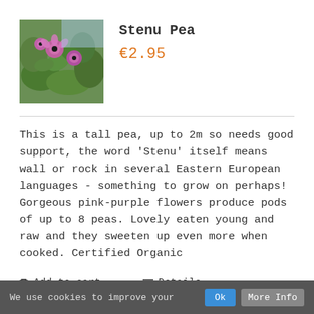[Figure (photo): Photo of Stenu Pea plant with pink-purple flowers and green leaves]
Stenu Pea
€2.95
This is a tall pea, up to 2m so needs good support, the word 'Stenu' itself means wall or rock in several Eastern European languages - something to grow on perhaps! Gorgeous pink-purple flowers produce pods of up to 8 peas. Lovely eaten young and raw and they sweeten up even more when cooked. Certified Organic
Add to cart
Details
We use cookies to improve your